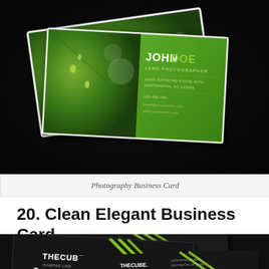[Figure (photo): Photography business card mockup showing a dark background with green plant/nature photography, white business cards with 'JOHN DOE LEAD PHOTOGRAPHER' text in white and green on a green section]
Photography Business Card
20. Clean Elegant Business Card
[Figure (photo): Clean elegant business card mockup showing black cards with green diagonal stripe lines and 'THECUBE.' branding on dark background]